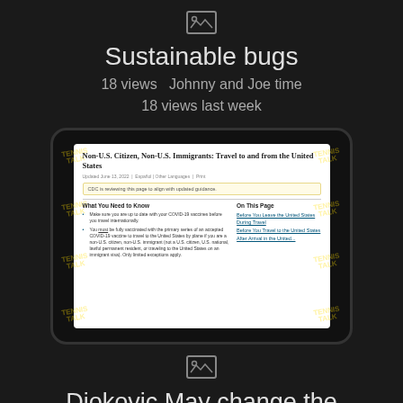[Figure (other): Image placeholder icon (mountain/photo icon)]
Sustainable bugs
18 views  Johnny and Joe time
18 views last week
[Figure (screenshot): Screenshot of CDC webpage titled 'Non-U.S. Citizen, Non-U.S. Immigrants: Travel to and from the United States', shown on a tablet device with Tennis Talk watermarks on sides. Page content includes COVID-19 vaccine requirements for travel.]
[Figure (other): Image placeholder icon (mountain/photo icon)]
Djokovic May change the Globalists guidance...Globalists compelled by Djokovic